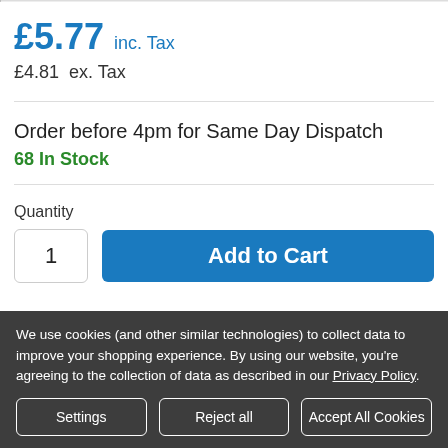£5.77 inc. Tax
£4.81  ex. Tax
Order before 4pm for Same Day Dispatch
68 In Stock
Quantity
1
Add to Cart
We use cookies (and other similar technologies) to collect data to improve your shopping experience. By using our website, you're agreeing to the collection of data as described in our Privacy Policy.
Settings
Reject all
Accept All Cookies